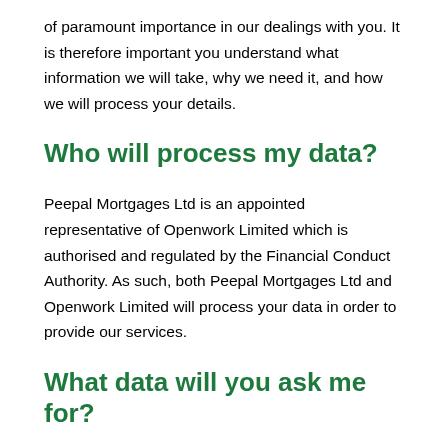of paramount importance in our dealings with you. It is therefore important you understand what information we will take, why we need it, and how we will process your details.
Who will process my data?
Peepal Mortgages Ltd is an appointed representative of Openwork Limited which is authorised and regulated by the Financial Conduct Authority. As such, both Peepal Mortgages Ltd and Openwork Limited will process your data in order to provide our services.
What data will you ask me for?
In order to fully understand your financial needs and be able to give good advice, we need to obtain information about you, your family, your personal circumstances, and your